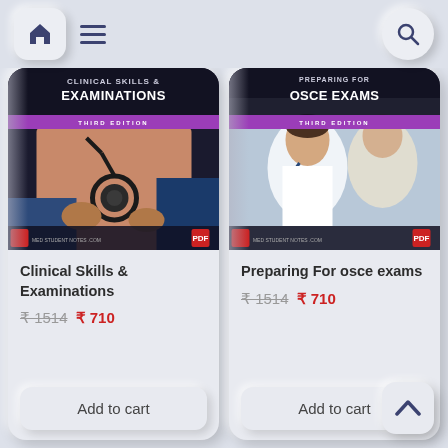[Figure (screenshot): Top navigation bar with home icon button, hamburger menu icon, and search icon button on neumorphic background]
[Figure (photo): Book cover: Clinical Skills & Examinations Third Edition - showing stethoscope on patient chest]
Clinical Skills & Examinations
₹ 1514  ₹ 710
Add to cart
[Figure (photo): Book cover: Preparing For OSCE Exams Third Edition - showing doctor/medical professional]
Preparing For osce exams
₹ 1514  ₹ 710
Add to cart